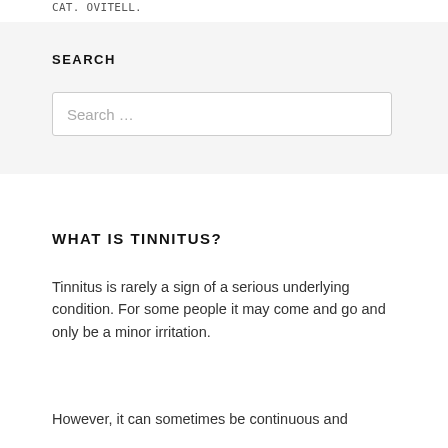SEARCH
SEARCH
Search …
WHAT IS TINNITUS?
Tinnitus is rarely a sign of a serious underlying condition. For some people it may come and go and only be a minor irritation.
However, it can sometimes be continuous and